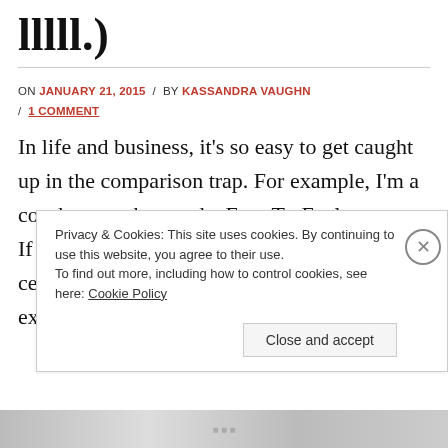lllll.)
ON JANUARY 21, 2015 / BY KASSANDRA VAUGHN / 1 COMMENT
In life and business, it's so easy to get caught up in the comparison trap. For example, I'm a coach, an author, and a Fear-To-Fuel expert.  If I spent my time looking at the thousands of certified coaches, Kindle book authors, and experts teaching online courses on how to
Privacy & Cookies: This site uses cookies. By continuing to use this website, you agree to their use. To find out more, including how to control cookies, see here: Cookie Policy Close and accept